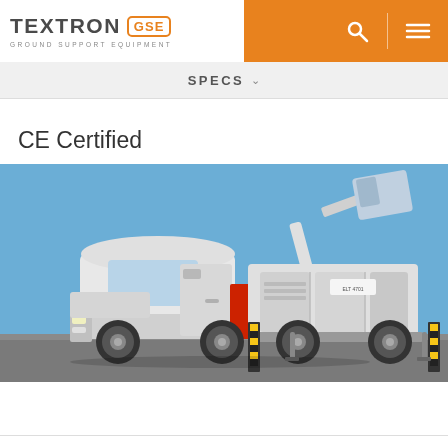TEXTRON GSE - GROUND SUPPORT EQUIPMENT
SPECS
CE Certified
[Figure (photo): A white heavy-duty truck with ground support equipment mounted on the rear, parked on a tarmac against a blue sky. The truck features a crane/lift mechanism on top and yellow-black hazard striping on the rear bumper.]